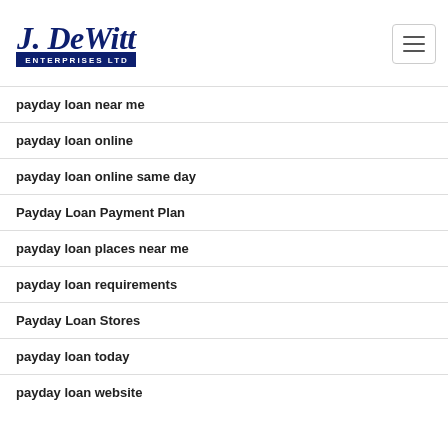J. DeWitt Enterprises Ltd
payday loan near me
payday loan online
payday loan online same day
Payday Loan Payment Plan
payday loan places near me
payday loan requirements
Payday Loan Stores
payday loan today
payday loan website